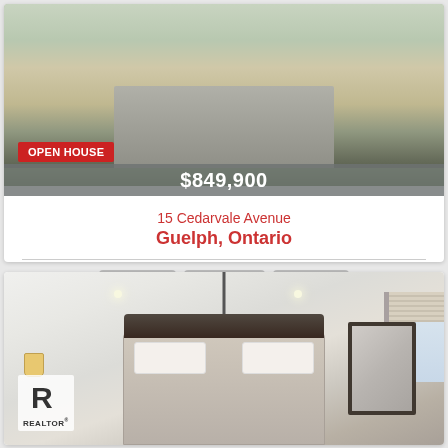[Figure (photo): Exterior photo of a house with driveway and garage, 'OPEN HOUSE' badge in red, price bar showing $849,900]
15 Cedarvale Avenue
Guelph, Ontario
4 Bedroom   3 Bathroom   1450.6500
[Figure (photo): Interior bedroom photo with pendant light, bed, mirror, and window. REALTOR logo bottom-left, FOR SALE badge top-right.]